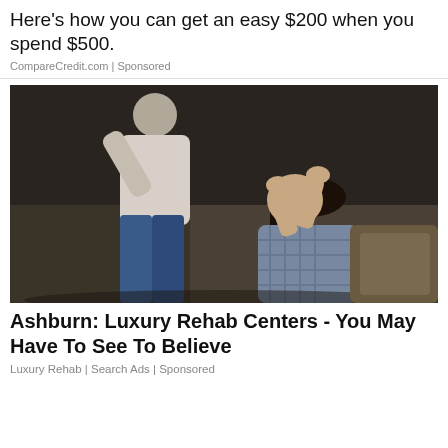Here's how you can get an easy $200 when you spend $500.
CompareCredit.com | Sponsored
[Figure (photo): A distressed woman crouching and grabbing her hair, with a man standing over her in a dark room — domestic dispute scene.]
Ashburn: Luxury Rehab Centers - You May Have To See To Believe
Luxury Rehab | Search Ads | Sponsored